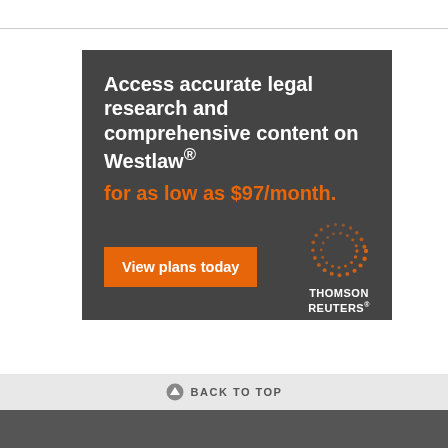[Figure (infographic): Thomson Reuters Westlaw advertisement on dark gray background. Headline in white bold: 'Access accurate legal research and comprehensive content on Westlaw®'. Subtext in orange bold: 'for as low as $97/month.' Orange CTA button: 'View plans today'. Thomson Reuters logo with orange dotted circle graphic in lower right.]
BACK TO TOP